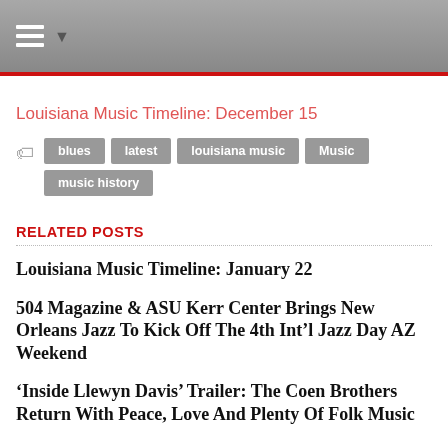Navigation bar with hamburger menu
Louisiana Music Timeline: December 15
blues
latest
louisiana music
Music
music history
RELATED POSTS
Louisiana Music Timeline: January 22
504 Magazine & ASU Kerr Center Brings New Orleans Jazz To Kick Off The 4th Int'l Jazz Day AZ Weekend
‘Inside Llewyn Davis’ Trailer: The Coen Brothers Return With Peace, Love And Plenty Of Folk Music